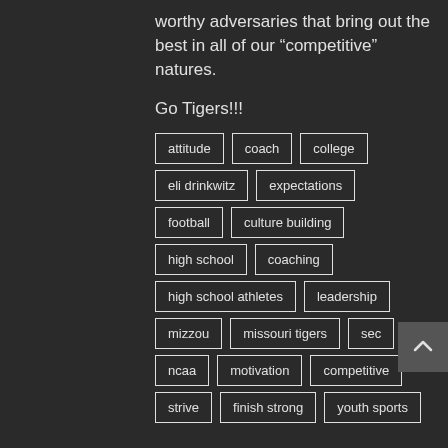worthy adversaries that bring out the best in all of our “competitive” natures.
Go Tigers!!!
attitude
coach
college
eli drinkwitz
expectations
football
culture building
high school
coaching
high school athletes
leadership
mizzou
missouri tigers
sec
ncaa
motivation
competitive
strive
finish strong
youth sports